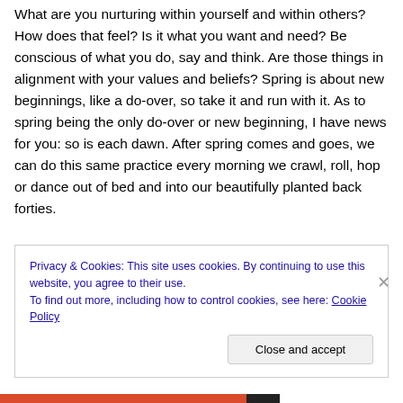What are you nurturing within yourself and within others? How does that feel? Is it what you want and need? Be conscious of what you do, say and think. Are those things in alignment with your values and beliefs? Spring is about new beginnings, like a do-over, so take it and run with it. As to spring being the only do-over or new beginning, I have news for you: so is each dawn. After spring comes and goes, we can do this same practice every morning we crawl, roll, hop or dance out of bed and into our beautifully planted back forties.
Privacy & Cookies: This site uses cookies. By continuing to use this website, you agree to their use.
To find out more, including how to control cookies, see here: Cookie Policy
Close and accept